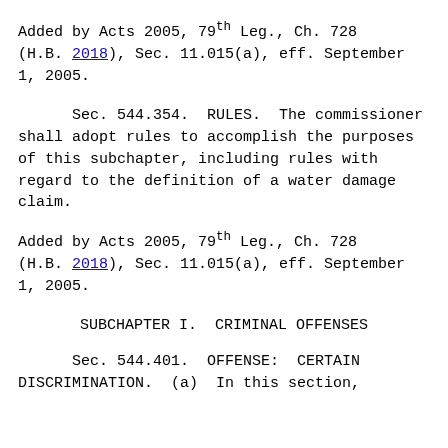Added by Acts 2005, 79th Leg., Ch. 728 (H.B. 2018), Sec. 11.015(a), eff. September 1, 2005.
Sec. 544.354.  RULES.  The commissioner shall adopt rules to accomplish the purposes of this subchapter, including rules with regard to the definition of a water damage claim.
Added by Acts 2005, 79th Leg., Ch. 728 (H.B. 2018), Sec. 11.015(a), eff. September 1, 2005.
SUBCHAPTER I.  CRIMINAL OFFENSES
Sec. 544.401.  OFFENSE:  CERTAIN DISCRIMINATION.  (a)  In this section,